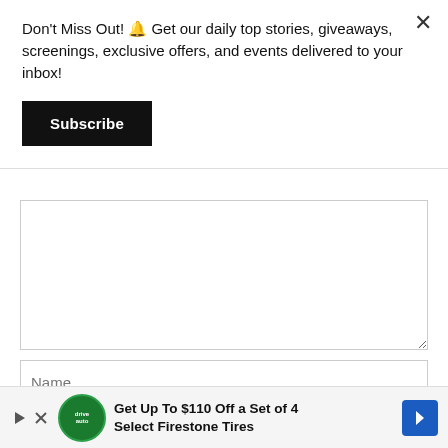Don't Miss Out! 🔔 Get our daily top stories, giveaways, screenings, exclusive offers, and events delivered to your inbox!
Subscribe
[Figure (screenshot): Comment textarea input field, empty, with resize handle at bottom right]
Name...
[Figure (infographic): Advertisement banner: Get Up To $110 Off a Set of 4 Select Firestone Tires, with play icon, Firestone auto logo, and blue diamond arrow icon]